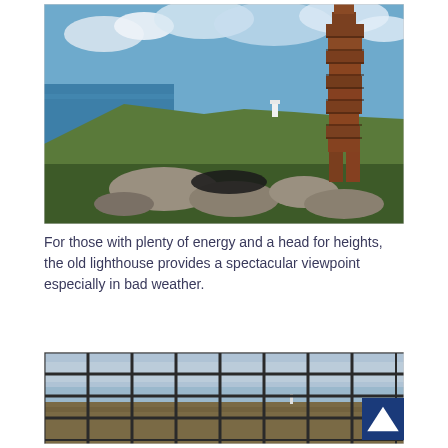[Figure (photo): Outdoor coastal landscape photo showing a rusted geometric metal sculpture (human-like figure made of stacked rectangular blocks) standing on rocky grassland near clifftops, with blue ocean and cloudy sky in the background and a distant white lighthouse.]
For those with plenty of energy and a head for heights, the old lighthouse provides a spectacular viewpoint especially in bad weather.
[Figure (photo): View through a metal grid fence/railing from the top of an old lighthouse, looking out over flat moorland under an overcast grey-blue sky, with a distant second lighthouse visible on the horizon.]